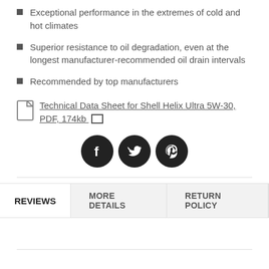Exceptional performance in the extremes of cold and hot climates
Superior resistance to oil degradation, even at the longest manufacturer-recommended oil drain intervals
Recommended by top manufacturers
Technical Data Sheet for Shell Helix Ultra 5W-30, PDF, 174kb
[Figure (infographic): Three social media icons (Facebook, Twitter, Pinterest) as white icons on dark circular backgrounds]
REVIEWS   MORE DETAILS   RETURN POLICY